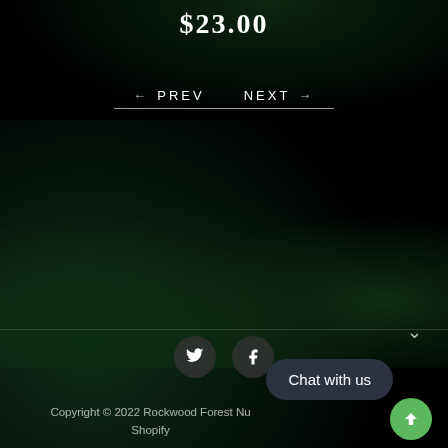$23.00
← PREV   NEXT →
[Figure (photo): Dark blurred forest background with green foliage]
∨
[Figure (other): Social icons: Twitter and Facebook circular buttons]
Copyright © 2022 Rockwood Forest Nu... by Shopify
Chat with us